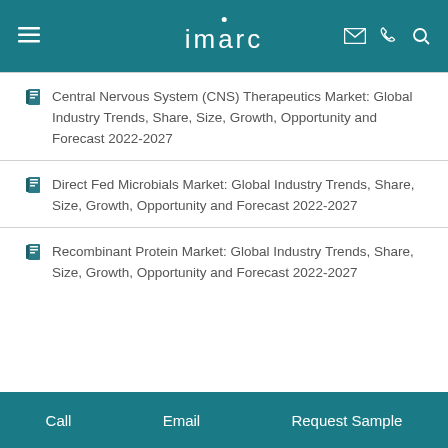imarc
Central Nervous System (CNS) Therapeutics Market: Global Industry Trends, Share, Size, Growth, Opportunity and Forecast 2022-2027
Direct Fed Microbials Market: Global Industry Trends, Share, Size, Growth, Opportunity and Forecast 2022-2027
Recombinant Protein Market: Global Industry Trends, Share, Size, Growth, Opportunity and Forecast 2022-2027
Call   Email   Request Sample